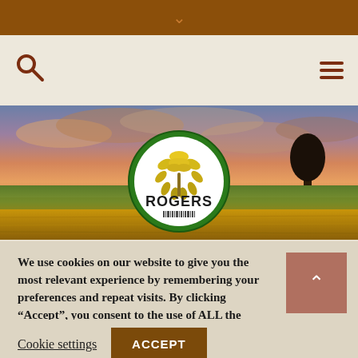Rogers website header with navigation bar
[Figure (logo): Rogers Foods logo - circular green-bordered logo with yellow wheat sheaf graphic and bold ROGERS text, shown over a farm field at sunset hero image]
We use cookies on our website to give you the most relevant experience by remembering your preferences and repeat visits. By clicking “Accept”, you consent to the use of ALL the cookies.
Cookie settings
ACCEPT